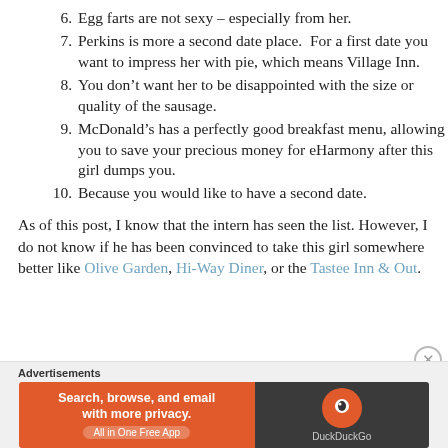6. Egg farts are not sexy – especially from her.
7. Perkins is more a second date place.  For a first date you want to impress her with pie, which means Village Inn.
8. You don’t want her to be disappointed with the size or quality of the sausage.
9. McDonald’s has a perfectly good breakfast menu, allowing you to save your precious money for eHarmony after this girl dumps you.
10. Because you would like to have a second date.
As of this post, I know that the intern has seen the list. However, I do not know if he has been convinced to take this girl somewhere better like Olive Garden, Hi-Way Diner, or the Tastee Inn & Out.
[Figure (other): DuckDuckGo advertisement banner: orange left side with text 'Search, browse, and email with more privacy. All in One Free App', dark right side with DuckDuckGo logo and name.]